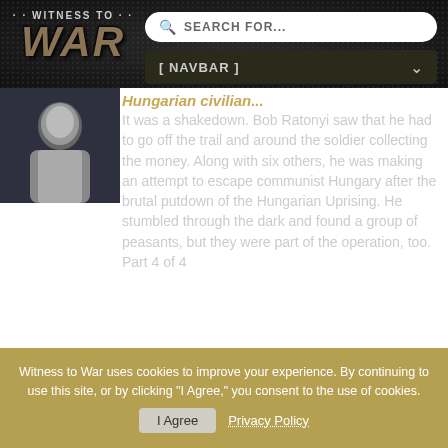[Figure (screenshot): Witness to War website header with logo showing 'WITNESS TO WAR' text and dog tags image]
[Figure (screenshot): Search bar with magnifying glass icon and 'SEARCH FOR...' placeholder text]
[Figure (screenshot): Navigation bar showing '[ NAVBAR ]' with dropdown chevron]
[Figure (photo): Thumbnail image of a person (silhouette/dark figure)]
Hungarian civilian (partial, cut off at top)
It was a shakedown. Bob Ratonyi saw that he had to go off the trail and around the soldier collecting the money. Along with six others, he was making an attempt to escape communist Hungary after the brutal putdown of the Hungarian Uprising. He stumbled through the dark and found a group of peasants, but they were part of the operation, too. Part 4 of 4
Witness to War uses cookies to improve your experience. By continuing to use this site, or by clicking "I Agree," you consent to the use of cookies.
I Agree   Privacy Policy